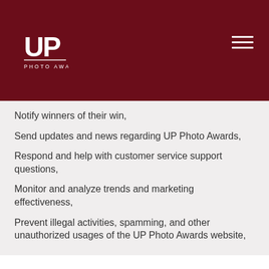[Figure (logo): UP Photo Awards logo — white letters UP with PHOTO AWARDS text below, on dark red background]
Notify winners of their win,
Send updates and news regarding UP Photo Awards,
Respond and help with customer service support questions,
Monitor and analyze trends and marketing effectiveness,
Prevent illegal activities, spamming, and other unauthorized usages of the UP Photo Awards website,